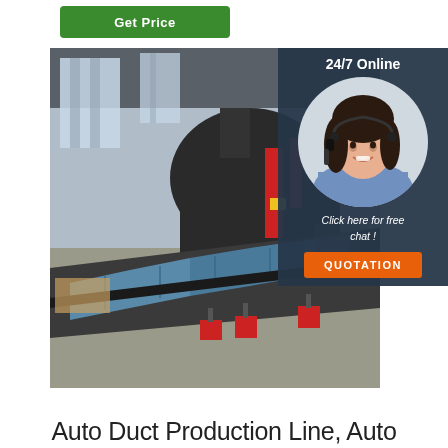Get Price
[Figure (photo): Industrial auto duct production line machinery in a factory, showing a large metal forming machine with blue-grey folded duct sections lined up on a conveyor rail, industrial floor with red bolt assemblies visible]
[Figure (photo): Customer service agent: smiling woman with headset, overlay panel showing '24/7 Online', 'Click here for free chat!', and orange QUOTATION button on dark navy background]
Auto Duct Production Line, Auto